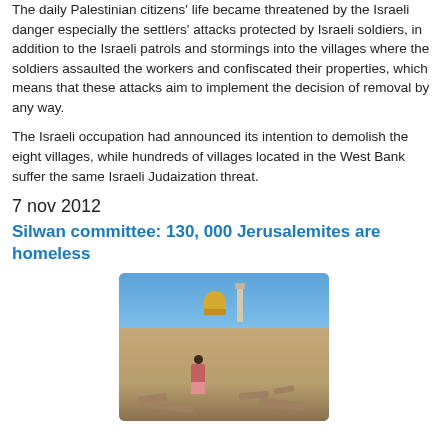The daily Palestinian citizens' life became threatened by the Israeli danger especially the settlers' attacks protected by Israeli soldiers, in addition to the Israeli patrols and stormings into the villages where the soldiers assaulted the workers and confiscated their properties, which means that these attacks aim to implement the decision of removal by any way.
The Israeli occupation had announced its intention to demolish the eight villages, while hundreds of villages located in the West Bank suffer the same Israeli Judaization threat.
7 nov 2012
Silwan committee: 130, 000 Jerusalemites are homeless
[Figure (photo): A child standing on rubble with the Dome of the Rock and a minaret visible in the background under a blue sky.]